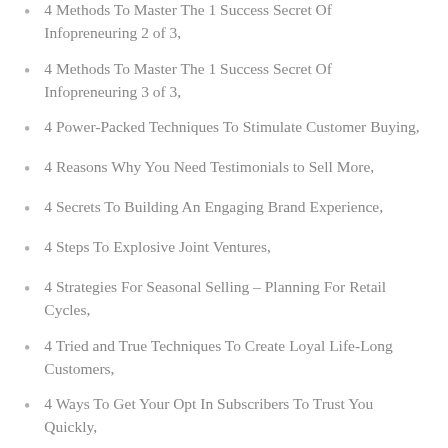4 Methods To Master The 1 Success Secret Of Infopreneuring 2 of 3,
4 Methods To Master The 1 Success Secret Of Infopreneuring 3 of 3,
4 Power-Packed Techniques To Stimulate Customer Buying,
4 Reasons Why You Need Testimonials to Sell More,
4 Secrets To Building An Engaging Brand Experience,
4 Steps To Explosive Joint Ventures,
4 Strategies For Seasonal Selling – Planning For Retail Cycles,
4 Tried and True Techniques To Create Loyal Life-Long Customers,
4 Ways To Get Your Opt In Subscribers To Trust You Quickly,
4 Ways to Overcome the Wrecking Ball In Your Online Business,
4 Sale Thieves You Need To Be On The Lookout For,